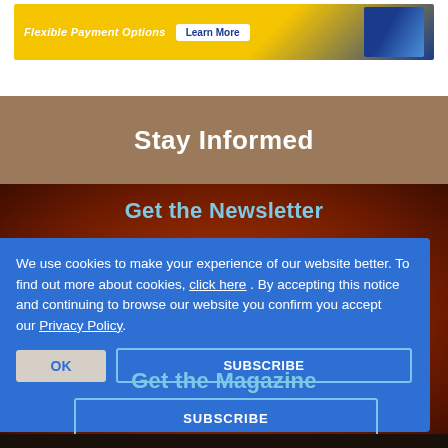[Figure (screenshot): Yellow and blue banner advertisement with text 'Flexible Payment Options' and a blue button, partially visible at top of page]
Stay Informed
Get the Newsletter
We use cookies to make your experience of our website better. To find out more about cookies, click here . By accepting this notice and continuing to browse our website you confirm you accept our Privacy Policy.
Get the Magazine